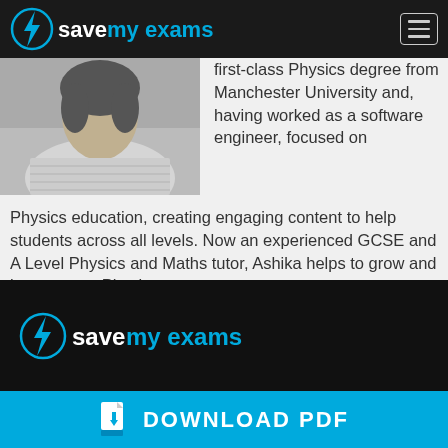Save My Exams — navigation bar with logo and hamburger menu
[Figure (photo): Black and white photo of a person (Ashika), cropped at head/shoulders, wearing a knit sweater]
first-class Physics degree from Manchester University and, having worked as a software engineer, focused on Physics education, creating engaging content to help students across all levels. Now an experienced GCSE and A Level Physics and Maths tutor, Ashika helps to grow and improve our Physics resources.
[Figure (logo): Save My Exams logo on black background footer]
DOWNLOAD PDF